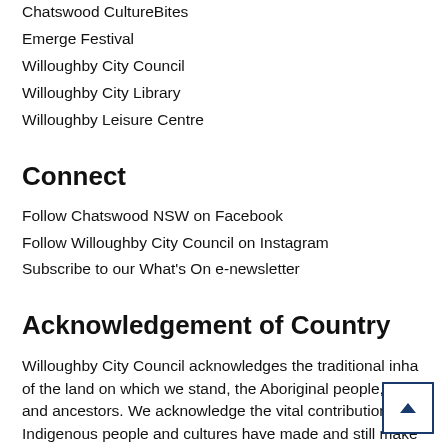Chatswood CultureBites
Emerge Festival
Willoughby City Council
Willoughby City Library
Willoughby Leisure Centre
Connect
Follow Chatswood NSW on Facebook
Follow Willoughby City Council on Instagram
Subscribe to our What's On e-newsletter
Acknowledgement of Country
Willoughby City Council acknowledges the traditional inhabitants of the land on which we stand, the Aboriginal people, their elders and ancestors. We acknowledge the vital contribution that Indigenous people and cultures have made and still make to the